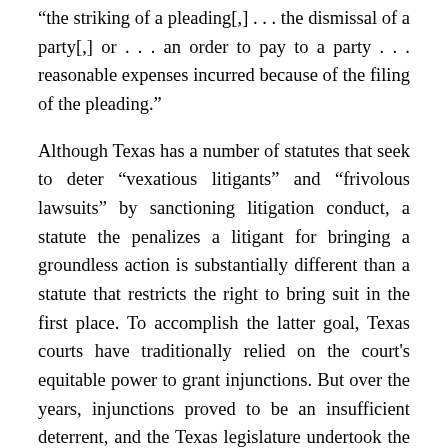“the striking of a pleading[,] . . . the dismissal of a party[,] or . . . an order to pay to a party . . . reasonable expenses incurred because of the filing of the pleading.”
Although Texas has a number of statutes that seek to deter “vexatious litigants” and “frivolous lawsuits” by sanctioning litigation conduct, a statute the penalizes a litigant for bringing a groundless action is substantially different than a statute that restricts the right to bring suit in the first place. To accomplish the latter goal, Texas courts have traditionally relied on the court’s equitable power to grant injunctions. But over the years, injunctions proved to be an insufficient deterrent, and the Texas legislature undertook the task of implementing a statute that would provide attorneys and courts with a means of deterring frivolous suits brought by vexatious litigants